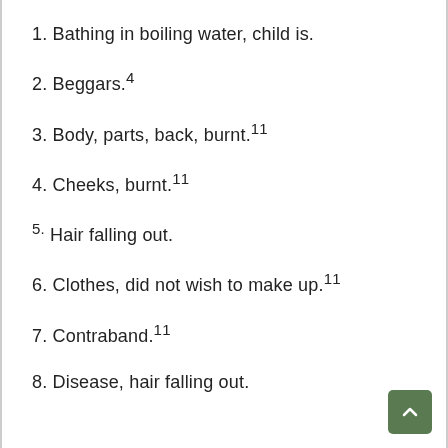1. Bathing in boiling water, child is.
2. Beggars.⁴
3. Body, parts, back, burnt.¹¹
4. Cheeks, burnt.¹¹
5. Hair falling out.
6. Clothes, did not wish to make up.¹¹
7. Contraband.¹¹
8. Disease, hair falling out.